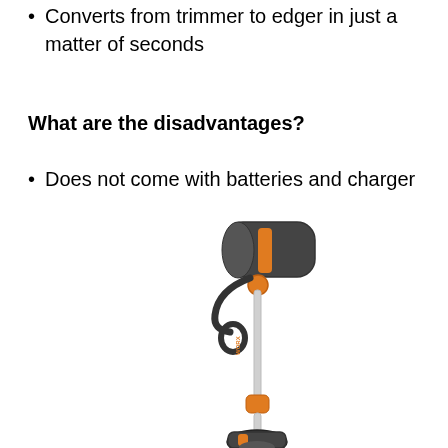Converts from trimmer to edger in just a matter of seconds
What are the disadvantages?
Does not come with batteries and charger
[Figure (photo): A cordless string trimmer/edger tool (WORX brand) with an orange and black handle, adjustable shaft, and trimmer head at the bottom, shown diagonally against a white background.]